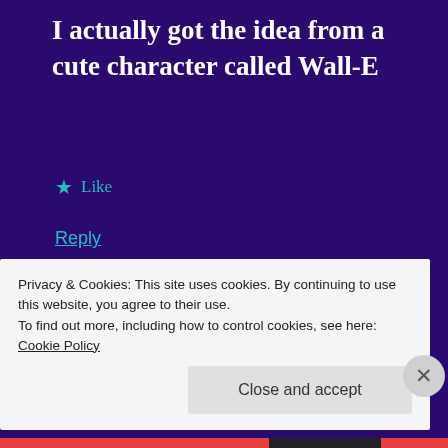I actually got the idea from a cute character called Wall-E
★ Like
Reply
Susan Swiderski
December 11, 2018 at 4:38 am
Privacy & Cookies: This site uses cookies. By continuing to use this website, you agree to their use.
To find out more, including how to control cookies, see here: Cookie Policy
Close and accept